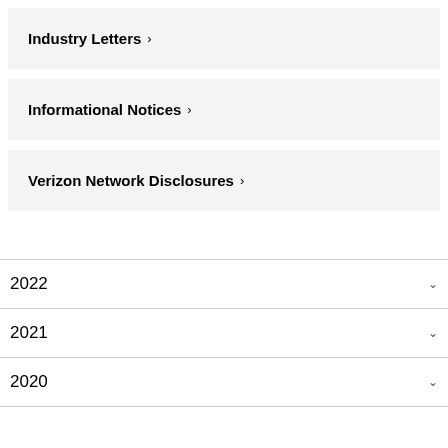Industry Letters >
Informational Notices >
Verizon Network Disclosures >
2022
2021
2020